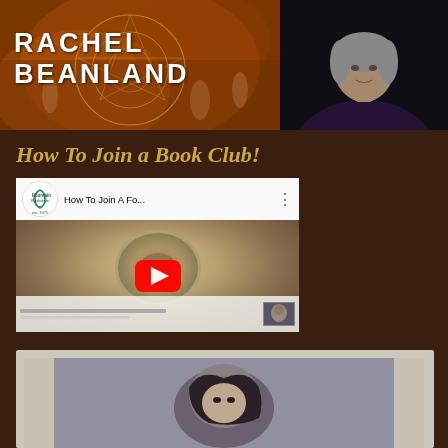[Figure (photo): Banner split into two parts: left side shows a dark warm-toned historical painting background with circular geometric overlays and white bold text reading RACHEL BEANLAND; right side shows a portrait photo of a woman with short gray hair against a dark background]
How To Join a Book Club!
[Figure (screenshot): YouTube video thumbnail showing Fountain Bookstore channel icon and title 'How To Join A Fo...' with a red YouTube play button over a warm-toned thumbnail image, with a small preview thumbnail in bottom right corner]
[Figure (photo): Partial photo at bottom showing a person's head/face with dark hair, appears to be lying down, with a light border/frame around the image]